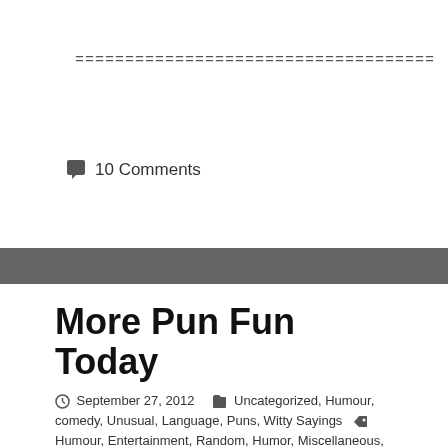====================================
💬 10 Comments
More Pun Fun Today
September 27, 2012  Uncategorized, Humour, comedy, Unusual, Language, Puns, Witty Sayings  Humour, Entertainment, Random, Humor, Miscellaneous, Comedy, Misc, politics, home, marriage, funny, jokes, eating, moron, shotgun, death, amusing, wife, witty, dancing, pun, puns, humorous phrases, joke, funnier, play